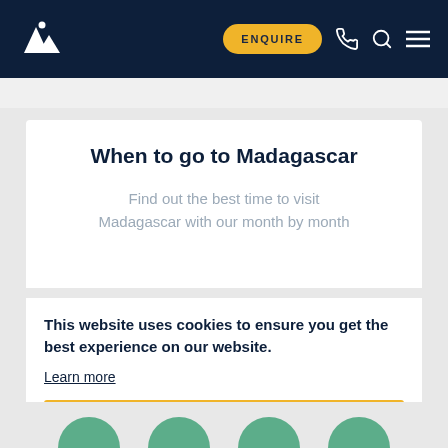Navigation bar with logo, ENQUIRE button, phone icon, search icon, and menu icon
When to go to Madagascar
Find out the best time to visit Madagascar with our month by month
This website uses cookies to ensure you get the best experience on our website.
Learn more
Got it!